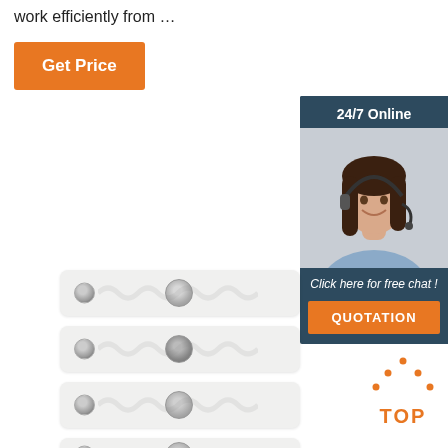work efficiently from …
[Figure (other): Orange 'Get Price' button]
[Figure (other): 24/7 Online chat widget with customer service representative photo, 'Click here for free chat!' text, and orange QUOTATION button]
[Figure (other): Four white RFID/NFC laundry tag strips with rivets and chips, shown stacked vertically]
[Figure (other): Orange TOP icon with dots forming a house/triangle shape above the text TOP]